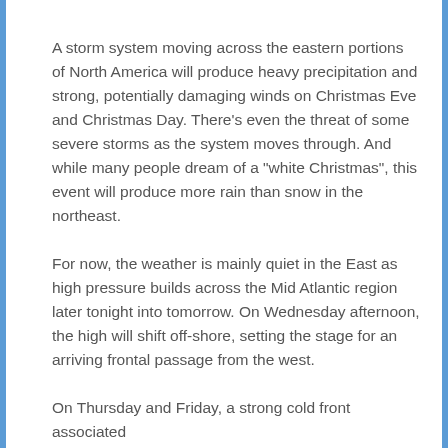A storm system moving across the eastern portions of North America will produce heavy precipitation and strong, potentially damaging winds on Christmas Eve and Christmas Day. There’s even the threat of some severe storms as the system moves through. And while many people dream of a “white Christmas”, this event will produce more rain than snow in the northeast.
For now, the weather is mainly quiet in the East as high pressure builds across the Mid Atlantic region later tonight into tomorrow. On Wednesday afternoon, the high will shift off-shore, setting the stage for an arriving frontal passage from the west.
On Thursday and Friday, a strong cold front associated with...